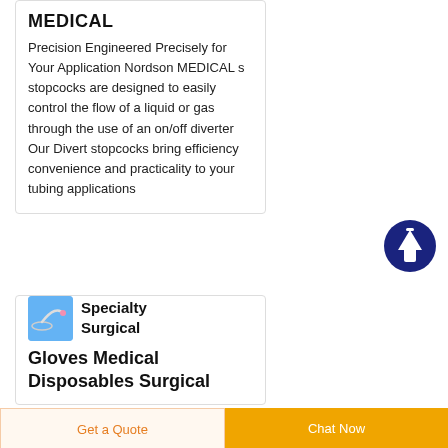MEDICAL
Precision Engineered Precisely for Your Application Nordson MEDICAL s stopcocks are designed to easily control the flow of a liquid or gas through the use of an on/off diverter Our Divert stopcocks bring efficiency convenience and practicality to your tubing applications
[Figure (illustration): Dark blue circular button with white upward arrow icon]
[Figure (photo): Small thumbnail image of surgical tubing/catheter on blue background]
Specialty Surgical Gloves Medical Disposables Surgical
Get a Quote | Chat Now